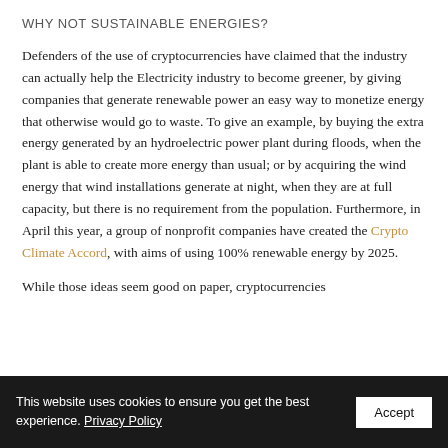WHY NOT SUSTAINABLE ENERGIES?
Defenders of the use of cryptocurrencies have claimed that the industry can actually help the Electricity industry to become greener, by giving companies that generate renewable power an easy way to monetize energy that otherwise would go to waste. To give an example, by buying the extra energy generated by an hydroelectric power plant during floods, when the plant is able to create more energy than usual; or by acquiring the wind energy that wind installations generate at night, when they are at full capacity, but there is no requirement from the population. Furthermore, in April this year, a group of nonprofit companies have created the Crypto Climate Accord, with aims of using 100% renewable energy by 2025.
While those ideas seem good on paper, cryptocurrencies
This website uses cookies to ensure you get the best experience. Privacy Policy  Accept